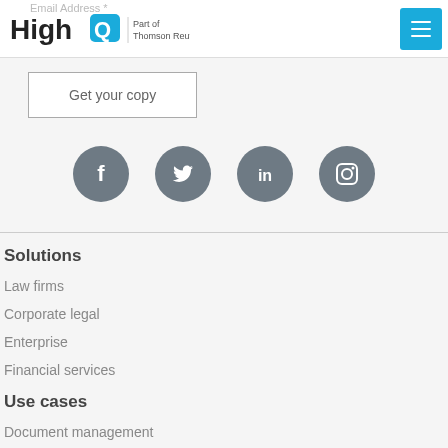HighQ Part of Thomson Reuters
Email Address *
Get your copy
[Figure (infographic): Four social media icons in grey circles: Facebook, Twitter, LinkedIn, Instagram]
Solutions
Law firms
Corporate legal
Enterprise
Financial services
Use cases
Document management